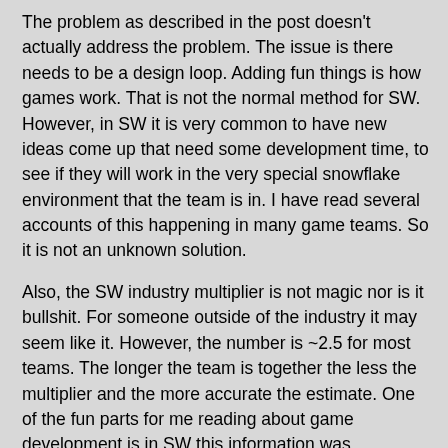The problem as described in the post doesn't actually address the problem. The issue is there needs to be a design loop. Adding fun things is how games work. That is not the normal method for SW. However, in SW it is very common to have new ideas come up that need some development time, to see if they will work in the very special snowflake environment that the team is in. I have read several accounts of this happening in many game teams. So it is not an unknown solution.
Also, the SW industry multiplier is not magic nor is it bullshit. For someone outside of the industry it may seem like it. However, the number is ~2.5 for most teams. The longer the team is together the less the multiplier and the more accurate the estimate. One of the fun parts for me reading about game development is in SW this information was established in the 60's and 70's. And still, the game companies normally flush the team out the door – to save money. So the next project requires the non-determent time